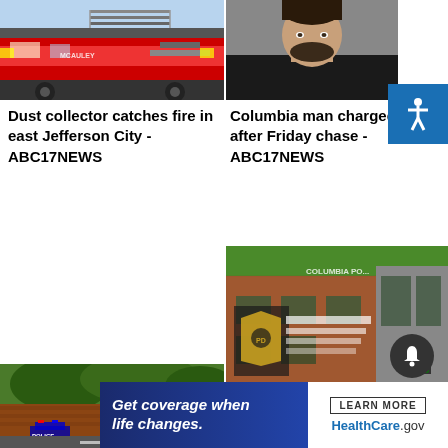[Figure (photo): Fire truck / fire engine at scene, east Jefferson City]
[Figure (photo): Mugshot of a man in a black t-shirt, Columbia man charged after Friday chase]
Dust collector catches fire in east Jefferson City - ABC17NEWS
Columbia man charged after Friday chase - ABC17NEWS
[Figure (photo): Columbia Police Department building exterior with brick facade and police badge sign]
Two arrested in connection to Columbia supermarket homicide - ABC17NEWS
[Figure (photo): Outdoor scene with police cars and brick building]
[Figure (infographic): Advertisement: Get coverage when life changes. LEARN MORE HealthCare.gov]